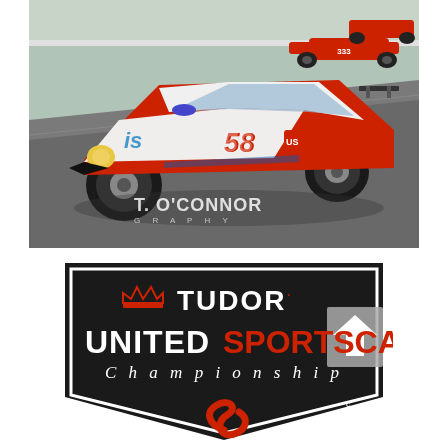[Figure (photo): Racing photo showing a red and white Porsche GT3 race car number 58 with sponsor logos on a race track, with red Ferrari cars visible in the background. Photographer watermark reads T. O'CONNOR GRAPHY.]
[Figure (logo): Tudor United SportsCar Championship official logo badge — black shield/badge shape with white border, Tudor crown logo and TUDOR wordmark in white, UNITED in bold white, SPORTSCAR in bold red, Championship in italic white, and the IMSA logo in red at bottom.]